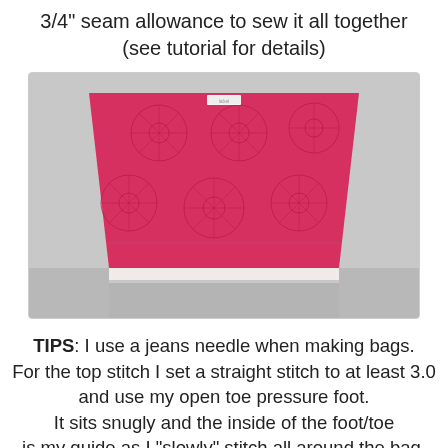3/4" seam allowance to sew it all together (see tutorial for details)
[Figure (photo): A piece of bright pink/red fabric with a floral starburst pattern laid flat on a light grey surface. The fabric is trapezoidal in shape, wider at the top and narrower at the bottom, with a small white label visible at the top center. The bottom edge shows a white/light border strip.]
TIPS: I use a jeans needle when making bags. For the top stitch I set a straight stitch to at least 3.0 and use my open toe pressure foot. It sits snugly and the inside of the foot/toe is my guide as I "slowly" stitch all around the bag. If you have a free arm sewing machine as an